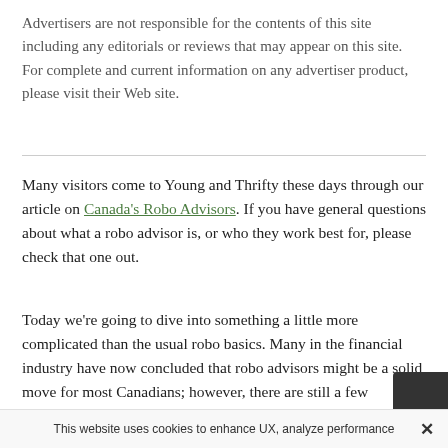Advertisers are not responsible for the contents of this site including any editorials or reviews that may appear on this site. For complete and current information on any advertiser product, please visit their Web site.
Many visitors come to Young and Thrifty these days through our article on Canada's Robo Advisors. If you have general questions about what a robo advisor is, or who they work best for, please check that one out.
Today we're going to dive into something a little more complicated than the usual robo basics. Many in the financial industry have now concluded that robo advisors might be a solid move for most Canadians; however, there are still a few misconceptions that need clearing up in regards to what robos can do for their
This website uses cookies to enhance UX, analyze performance  ✕